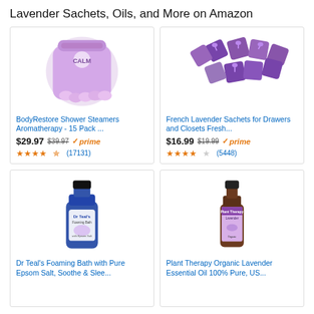Lavender Sachets, Oils, and More on Amazon
[Figure (photo): BodyRestore Shower Steamers Aromatherapy CALM product bag with small round tablets]
BodyRestore Shower Steamers Aromatherapy - 15 Pack ...
$29.97 $39.97 prime (17131)
[Figure (photo): French Lavender Sachets purple fabric bundles with dried lavender]
French Lavender Sachets for Drawers and Closets Fresh...
$16.99 $19.99 prime (5448)
[Figure (photo): Dr Teal's Foaming Bath blue bottle with lavender label]
Dr Teal's Foaming Bath with Pure Epsom Salt, Soothe & Slee...
[Figure (photo): Plant Therapy Organic Lavender Essential Oil brown dropper bottle with purple label]
Plant Therapy Organic Lavender Essential Oil 100% Pure, US...